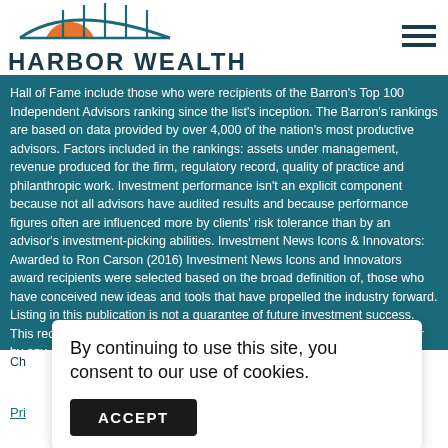[Figure (logo): Harbor Wealth logo with bridge/arch graphic in teal and orange sun, text reads HARBOR WEALTH]
Hall of Fame include those who were recipients of the Barron's Top 100 Independent Advisors ranking since the list's inception. The Barron's rankings are based on data provided by over 4,000 of the nation's most productive advisors. Factors included in the rankings: assets under management, revenue produced for the firm, regulatory record, quality of practice and philanthropic work. Investment performance isn't an explicit component because not all advisors have audited results and because performance figures often are influenced more by clients' risk tolerance than by an advisor's investment-picking abilities. Investment News Icons & Innovators: Awarded to Ron Carson (2016) Investment News Icons and Innovators award recipients were selected based on the broad definition of, those who have conceived new ideas and tools that have propelled the industry forward. Listing in this publication is not a guarantee of future investment success. This recognition should not be construed as an endorsement of the advisor by any client.
By continuing to use this site, you consent to our use of cookies.
Ch
Pri